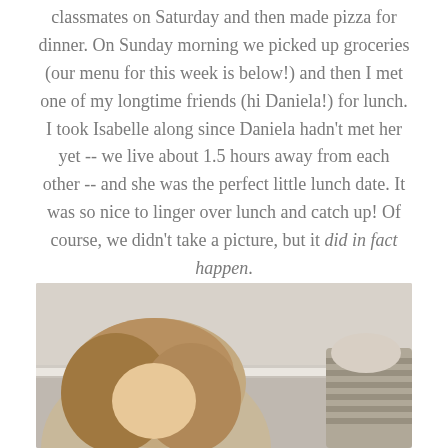classmates on Saturday and then made pizza for dinner. On Sunday morning we picked up groceries (our menu for this week is below!) and then I met one of my longtime friends (hi Daniela!) for lunch. I took Isabelle along since Daniela hadn't met her yet -- we live about 1.5 hours away from each other -- and she was the perfect little lunch date. It was so nice to linger over lunch and catch up! Of course, we didn't take a picture, but it did in fact happen.
[Figure (photo): A photo showing a person (or persons) indoors against a light-colored wall with white crown molding. A figure with blonde/brown hair is visible at the bottom left, and another figure in a striped outfit is at the right.]